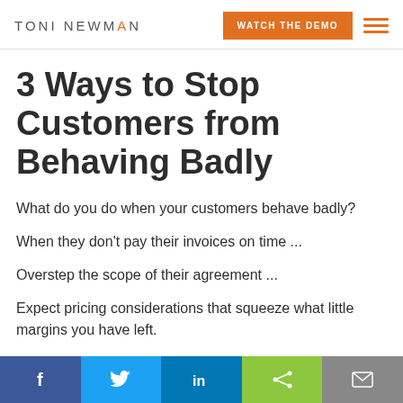TONI NEWMAN | WATCH THE DEMO
3 Ways to Stop Customers from Behaving Badly
What do you do when your customers behave badly?
When they don't pay their invoices on time ...
Overstep the scope of their agreement ...
Expect pricing considerations that squeeze what little margins you have left.